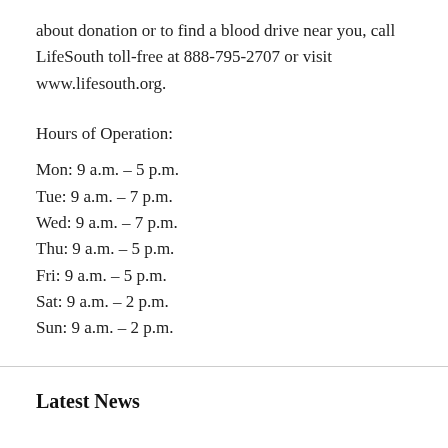about donation or to find a blood drive near you, call LifeSouth toll-free at 888-795-2707 or visit www.lifesouth.org.
Hours of Operation:
Mon: 9 a.m. – 5 p.m.
Tue: 9 a.m. – 7 p.m.
Wed: 9 a.m. – 7 p.m.
Thu: 9 a.m. – 5 p.m.
Fri: 9 a.m. – 5 p.m.
Sat: 9 a.m. – 2 p.m.
Sun: 9 a.m. – 2 p.m.
Latest News